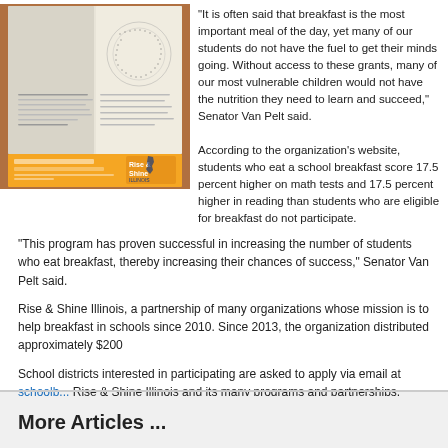[Figure (photo): Photo of a book or publication open to a page, with an orange Rise & Shine Illinois branded banner at the bottom showing the Rise & Shine logo]
“It is often said that breakfast is the most important meal of the day, yet many of our students do not have the fuel to get their minds going. Without access to these grants, many of our most vulnerable children would not have the nutrition they need to learn and succeed,” Senator Van Pelt said.
According to the organization’s website, students who eat a school breakfast score 17.5 percent higher on math tests and 17.5 percent higher in reading than students who are eligible for breakfast do not participate.
“This program has proven successful in increasing the number of students who eat breakfast, thereby increasing their chances of success,” Senator Van Pelt said.
Rise & Shine Illinois, a partnership of many organizations whose mission is to help breakfast in schools since 2010. Since 2013, the organization distributed approximately $200
School districts interested in participating are asked to apply via email at schoolb... Rise & Shine Illinois and its many programs and partnerships, please visit http://...
More Articles ...